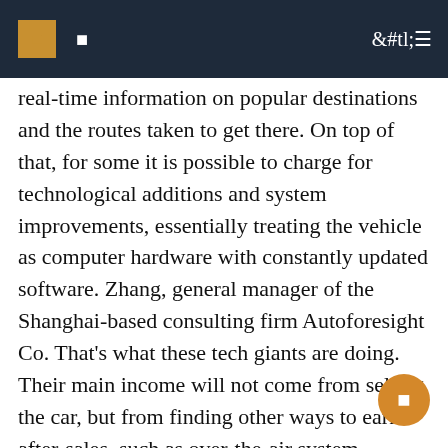real-time information on popular destinations and the routes taken to get there. On top of that, for some it is possible to charge for technological additions and system improvements, essentially treating the vehicle as computer hardware with constantly updated software. Zhang, general manager of the Shanghai-based consulting firm Autoforesight Co. That's what these tech giants are doing. Their main income will not come from selling the car, but from finding other ways to earn after-sales, such as over-the-air system upgrades or software subscriptions. Big Tech in China is considering electric vehicles for a reason: Hyperdrive DailyFirst MoversBaidu – which started investing in robot taxi technology in 2013 and funded Chinese electric vehicle start-up WM Motors – now plans to spend $ 7 , $ 7 billion over the next five years to develop smart car technology through its new Jidu Auto unit. The division aims